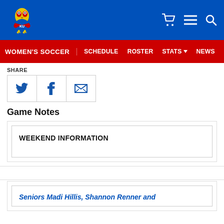KU Athletics - Women's Soccer navigation header
SHARE
[Figure (other): Share buttons: Twitter, Facebook, Email]
Game Notes
WEEKEND INFORMATION
Seniors Madi Hillis, Shannon Renner and...